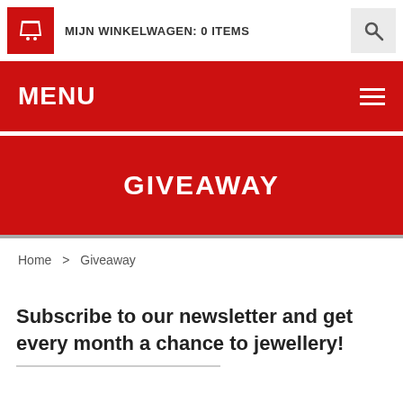MIJN WINKELWAGEN: 0 ITEMS
MENU
GIVEAWAY
Home > Giveaway
Subscribe to our newsletter and get every month a chance to jewellery!